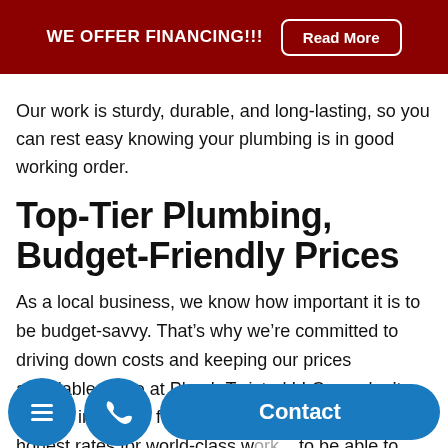WE OFFER FINANCING!!! Read More
Our work is sturdy, durable, and long-lasting, so you can rest easy knowing your plumbing is in good working order.
Top-Tier Plumbing, Budget-Friendly Prices
As a local business, we know how important it is to be budget-savvy. That’s why we’re committed to driving down costs and keeping our prices affordable. Here at Plumb Twisted LLC, we don’t believe in hidden fees or surcharges—just fair and honest rates for world-class w... to be able to benefit from our services, and so we price